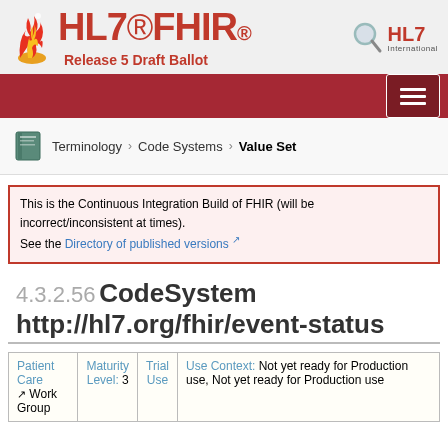[Figure (logo): HL7 FHIR logo with flame icon and text 'HL7 FHIR Release 5 Draft Ballot' and HL7 International logo on the right]
[Figure (other): Dark red navigation bar with hamburger menu button on the right]
Terminology > Code Systems > Value Set
This is the Continuous Integration Build of FHIR (will be incorrect/inconsistent at times). See the Directory of published versions
4.3.2.56 CodeSystem http://hl7.org/fhir/event-status
| Patient Care Work Group | Maturity Level: 3 | Trial Use | Use Context |
| --- | --- | --- | --- |
| Patient Care Work Group | Maturity Level: 3 | Trial Use | Use Context: Not yet ready for Production use, Not yet ready for Production use |